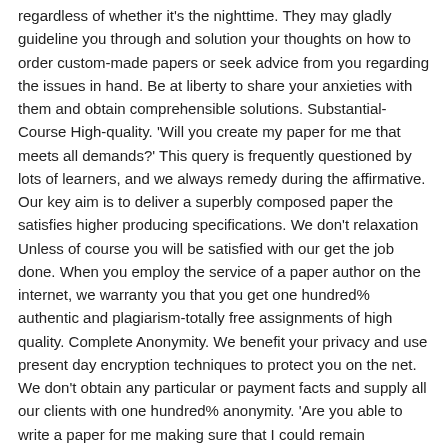regardless of whether it's the nighttime. They may gladly guideline you through and solution your thoughts on how to order custom-made papers or seek advice from you regarding the issues in hand. Be at liberty to share your anxieties with them and obtain comprehensible solutions. Substantial-Course High-quality. 'Will you create my paper for me that meets all demands?' This query is frequently questioned by lots of learners, and we always remedy during the affirmative. Our key aim is to deliver a superbly composed paper the satisfies higher producing specifications. We don't relaxation Unless of course you will be satisfied with our get the job done. When you employ the service of a paper author on the internet, we warranty you that you get one hundred% authentic and plagiarism-totally free assignments of high quality. Complete Anonymity. We benefit your privacy and use present day encryption techniques to protect you on the net. We don't obtain any particular or payment facts and supply all our clients with one hundred% anonymity. 'Are you able to write a paper for me making sure that I could remain nameless?' Certainly, we will! We're right here to assist you, to not bring about challenges. Quick Supply. We fully understand how demanding deadlines might be In relation to producing your paper. Even though your paper is due tomorrow early morning, you may usually count on us. Our writers meet up with all set deadlines